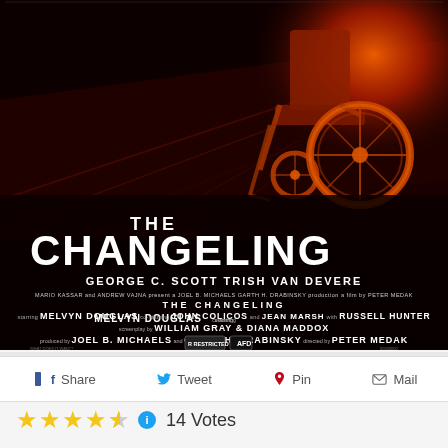[Figure (illustration): Movie poster for 'The Changeling' showing a red/orange illuminated wheelchair on dark red stairs background. Stars George C. Scott and Trish Van Devere. Credits include Melvyn Douglas, John Colicos, Jean Marsh, Russell Hunter. Screenplay by William Gray & Diana Maddox. Produced by Joel B. Michaels and Garth H. Drabinsky. Directed by Peter Medak. Rated R Restricted.]
Share   Tweet   Pin   Mail
14 Votes